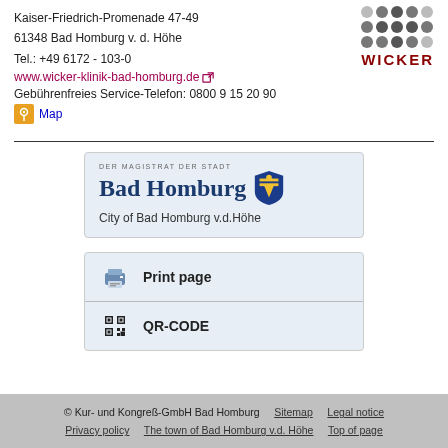Kaiser-Friedrich-Promenade 47-49
61348 Bad Homburg v. d. Höhe
Tel.: +49 6172 - 103-0
[Figure (logo): Wicker clinic logo with dots grid and WICKER text in dark red]
www.wicker-klinik-bad-homburg.de
Gebührenfreies Service-Telefon: 0800 9 15 20 90
Map
[Figure (logo): City of Bad Homburg v.d.Höhe logo card with Bad Homburg text and shield coat of arms]
City of Bad Homburg v.d.Höhe
[Figure (infographic): Print page and QR-CODE utility card with printer icon and QR code icon]
© Kur- und Kongreß-GmbH Bad Homburg   Sitemap   Legal notice   Privacy policy   The town of Bad Homburg v.d. Höhe   Top of page